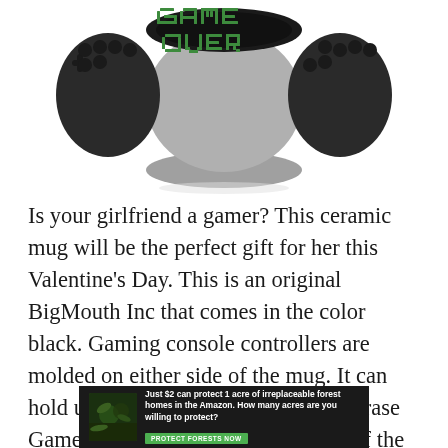[Figure (photo): A black ceramic mug shaped like a gaming controller. The mug has game controller handles/buttons molded on both sides. Inside the mug, visible from the top, is the phrase 'GAME OVER' in green pixelated text on a dark background. The mug is shown on a white background.]
Is your girlfriend a gamer? This ceramic mug will be the perfect gift for her this Valentine's Day. This is an original BigMouth Inc that comes in the color black. Gaming console controllers are molded on either side of the mug. It can hold up to 12 oz of any drink. The phrase Game Over is printed at the bottom of the mug in green.
[Figure (photo): Advertisement banner with a dark green/forest background showing leaves and wildlife. White bold text reads 'Just $2 can protect 1 acre of irreplaceable forest homes in the Amazon. How many acres are you willing to protect?' A green button reads 'PROTECT FORESTS NOW'.]